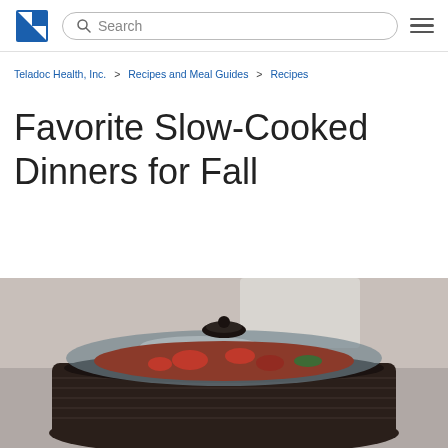Search
Teladoc Health, Inc. > Recipes and Meal Guides > Recipes
Favorite Slow-Cooked Dinners for Fall
[Figure (photo): A slow cooker with a glass lid, containing a stew with tomatoes and meat, viewed from above at an angle. The pot has a woven dark exterior.]